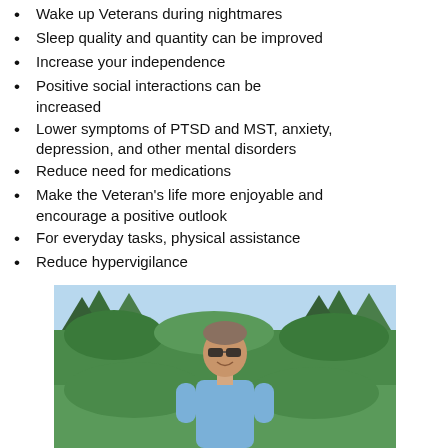Wake up Veterans during nightmares
Sleep quality and quantity can be improved
Increase your independence
Positive social interactions can be increased
Lower symptoms of PTSD and MST, anxiety, depression, and other mental disorders
Reduce need for medications
Make the Veteran's life more enjoyable and encourage a positive outlook
For everyday tasks, physical assistance
Reduce hypervigilance
[Figure (photo): A smiling man with short hair and sunglasses wearing a light blue shirt, standing outdoors in front of pine/evergreen trees with a light blue sky visible.]